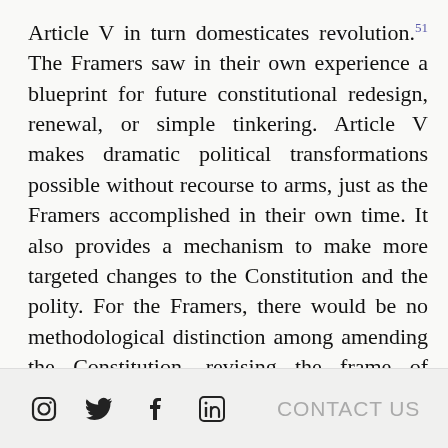Article V in turn domesticates revolution.51 The Framers saw in their own experience a blueprint for future constitutional redesign, renewal, or simple tinkering. Article V makes dramatic political transformations possible without recourse to arms, just as the Framers accomplished in their own time. It also provides a mechanism to make more targeted changes to the Constitution and the polity. For the Framers, there would be no methodological distinction among amending the Constitution, revising the frame of government, and reinventing America.52 Article V was designed to
CONTACT US